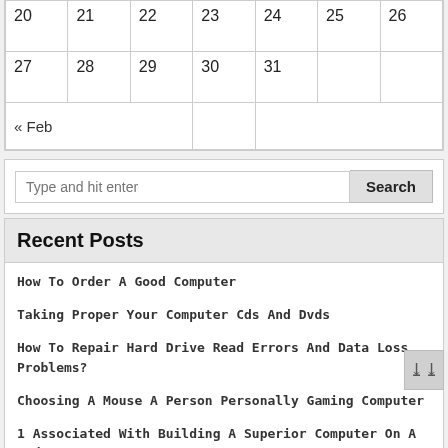| 20 | 21 | 22 | 23 | 24 | 25 | 26 |
| 27 | 28 | 29 | 30 | 31 |  |  |
| « Feb |  |  |  |  |  |  |
Type and hit enter  Search
Recent Posts
How To Order A Good Computer
Taking Proper Your Computer Cds And Dvds
How To Repair Hard Drive Read Errors And Data Loss Problems?
Choosing A Mouse A Person Personally Gaming Computer
1 Associated With Building A Superior Computer On A Budget
Pages